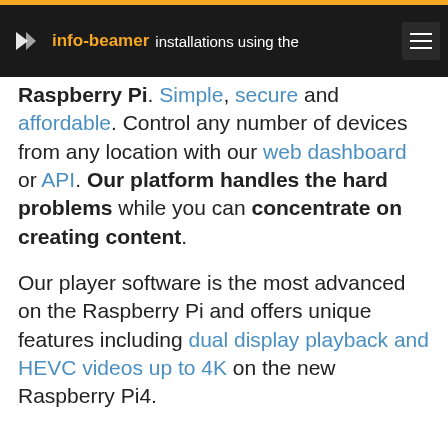info-beamer — We help you run professional cloud-based installations using the Raspberry Pi.
Raspberry Pi. Simple, secure and affordable. Control any number of devices from any location with our web dashboard or API. Our platform handles the hard problems while you can concentrate on creating content.
Our player software is the most advanced on the Raspberry Pi and offers unique features including dual display playback and HEVC videos up to 4K on the new Raspberry Pi4.